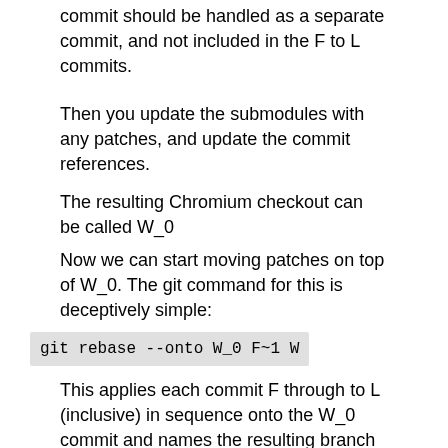commit should be handled as a separate commit, and not included in the F to L commits.
Then you update the submodules with any patches, and update the commit references.
The resulting Chromium checkout can be called W_0
Now we can start moving patches on top of W_0. The git command for this is deceptively simple:
git rebase --onto W_0 F~1 W
This applies each commit F through to L (inclusive) in sequence onto the W_0 commit and names the resulting branch W.